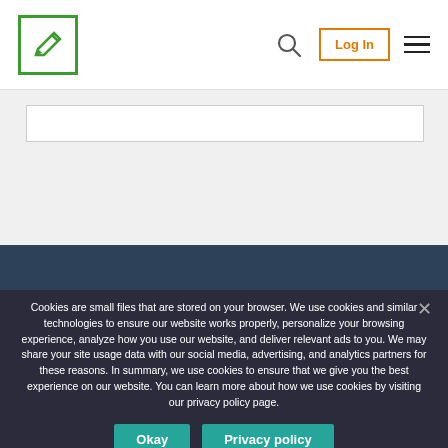[Figure (logo): Green square logo with pen/edit icon inside, in top-left navigation bar]
[Figure (screenshot): Website navigation bar with logo, search icon, orange-bordered Log In button, and hamburger menu]
General Information
Cookies are small files that are stored on your browser. We use cookies and similar technologies to ensure our website works properly, personalize your browsing experience, analyze how you use our website, and deliver relevant ads to you. We may share your site usage data with our social media, advertising, and analytics partners for these reasons. In summary, we use cookies to ensure that we give you the best experience on our website. You can learn more about how we use cookies by visiting our privacy policy page.